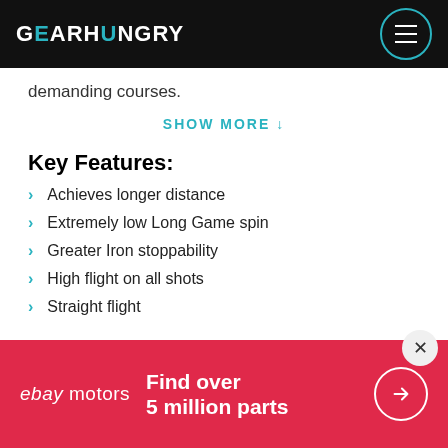GEARHUNGRY
demanding courses.
SHOW MORE ↓
Key Features:
Achieves longer distance
Extremely low Long Game spin
Greater Iron stoppability
High flight on all shots
Straight flight
[Figure (other): eBay Motors advertisement banner: Find over 5 million parts]